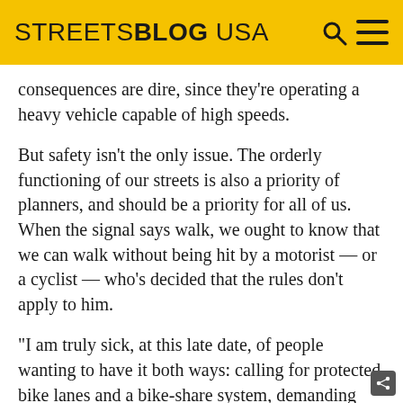STREETSBLOG USA
consequences are dire, since they're operating a heavy vehicle capable of high speeds.
But safety isn't the only issue. The orderly functioning of our streets is also a priority of planners, and should be a priority for all of us. When the signal says walk, we ought to know that we can walk without being hit by a motorist — or a cyclist — who's decided that the rules don't apply to him.
“I am truly sick, at this late date, of people wanting to have it both ways: calling for protected bike lanes and a bike-share system, demanding that cops step up enforcement when it comes to cars, and then blithely salmoning up a major thoroughfare and expecting